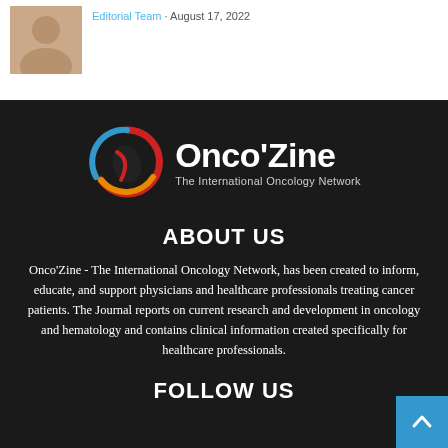[Figure (photo): Person photo thumbnail in top left corner]
Editorial Team · August 17, 2022
[Figure (logo): Onco'Zine – The International Oncology Network logo with circular emblem in red, blue, orange colors]
ABOUT US
Onco'Zine - The International Oncology Network, has been created to inform, educate, and support physicians and healthcare professionals treating cancer patients. The Journal reports on current research and development in oncology and hematology and contains clinical information created specifically for healthcare professionals.
FOLLOW US